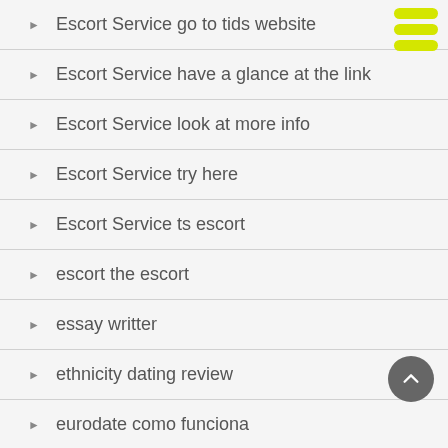Escort Service go to tids website
Escort Service have a glance at the link
Escort Service look at more info
Escort Service try here
Escort Service ts escort
escort the escort
essay writter
ethnicity dating review
eurodate como funciona